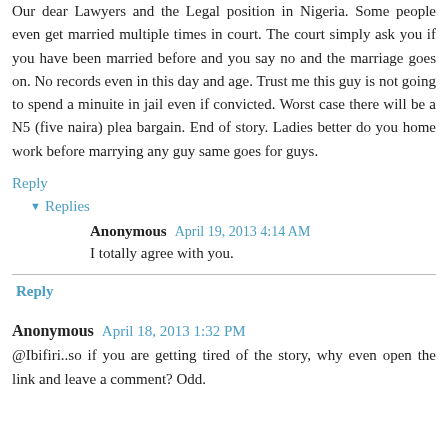Our dear Lawyers and the Legal position in Nigeria. Some people even get married multiple times in court. The court simply ask you if you have been married before and you say no and the marriage goes on. No records even in this day and age. Trust me this guy is not going to spend a minuite in jail even if convicted. Worst case there will be a N5 (five naira) plea bargain. End of story. Ladies better do you home work before marrying any guy same goes for guys.
Reply
▾ Replies
Anonymous  April 19, 2013 4:14 AM
I totally agree with you.
Reply
Anonymous  April 18, 2013 1:32 PM
@Ibifiri..so if you are getting tired of the story, why even open the link and leave a comment? Odd.